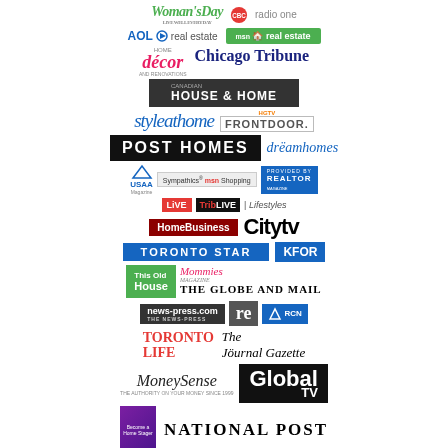[Figure (logo): Collage of media outlet logos including Woman's Day, CBC Radio One, AOL Real Estate, MSN Real Estate, Home Decor, Chicago Tribune, House & Home, Style at Home, HGTV Frontdoor, Post Homes, Dreamhomes, USAA Magazine, Sympathics MSN Shopping, Realtor Magazine, Live, TribLive Lifestyles, Home Business, Citytv, Toronto Star, KFOR, This House, Mommies, The Globe and Mail, news-press.com, re magazine, RCN, Toronto Life, The Journal Gazette, MoneySense, Global TV, Become a Home Stager book, National Post, CBS Radio, Grand]